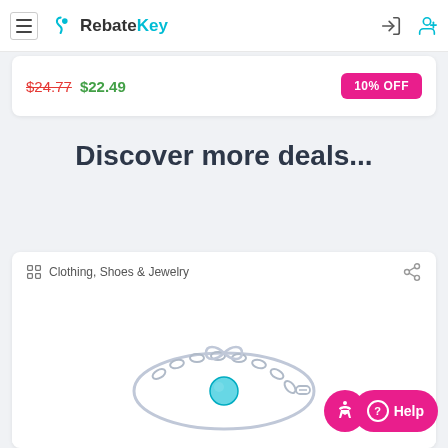RebateKey
$24.77  $22.49  10% OFF
Discover more deals...
Clothing, Shoes & Jewelry
[Figure (photo): Silver bracelet/jewelry product image on white background]